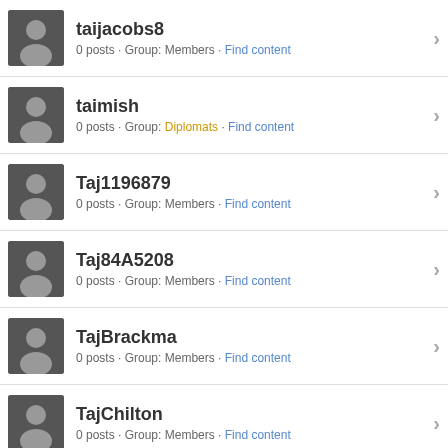taijacobs8 · 0 posts · Group: Members · Find content
taimish · 0 posts · Group: Diplomats · Find content
Taj1196879 · 0 posts · Group: Members · Find content
Taj84A5208 · 0 posts · Group: Members · Find content
TajBrackma · 0 posts · Group: Members · Find content
TajChilton · 0 posts · Group: Members · Find content
« Prev   Next »   Full Version